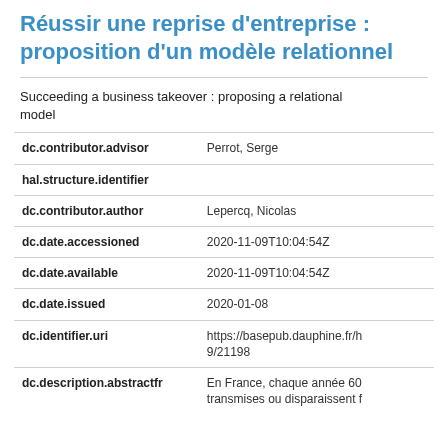Réussir une reprise d'entreprise : proposition d'un modèle relationnel
Succeeding a business takeover : proposing a relational model
| Field | Value |
| --- | --- |
| dc.contributor.advisor | Perrot, Serge |
| hal.structure.identifier |  |
| dc.contributor.author | Lepercq, Nicolas |
| dc.date.accessioned | 2020-11-09T10:04:54Z |
| dc.date.available | 2020-11-09T10:04:54Z |
| dc.date.issued | 2020-01-08 |
| dc.identifier.uri | https://basepub.dauphine.fr/h 9/21198 |
| dc.description.abstractfr | En France, chaque année 60 transmises ou disparaissent f |